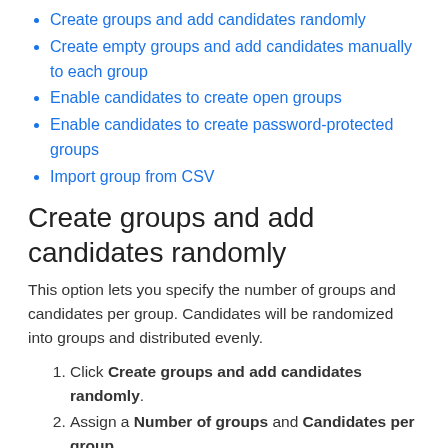Create groups and add candidates randomly
Create empty groups and add candidates manually to each group
Enable candidates to create open groups
Enable candidates to create password-protected groups
Import group from CSV
Create groups and add candidates randomly
This option lets you specify the number of groups and candidates per group. Candidates will be randomized into groups and distributed evenly.
Click Create groups and add candidates randomly.
Assign a Number of groups and Candidates per group.
Click Continue.